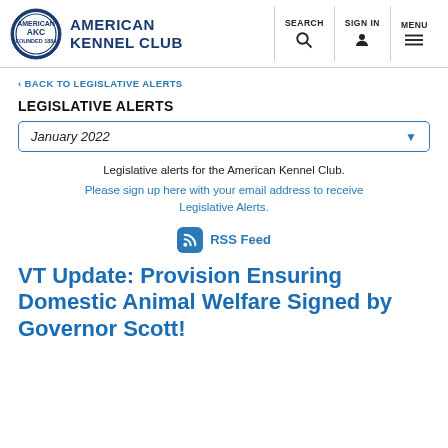American Kennel Club — SEARCH | SIGN IN | MENU
< BACK TO LEGISLATIVE ALERTS
LEGISLATIVE ALERTS
January 2022
Legislative alerts for the American Kennel Club.
Please sign up here with your email address to receive Legislative Alerts.
RSS Feed
VT Update: Provision Ensuring Domestic Animal Welfare Signed by Governor Scott!